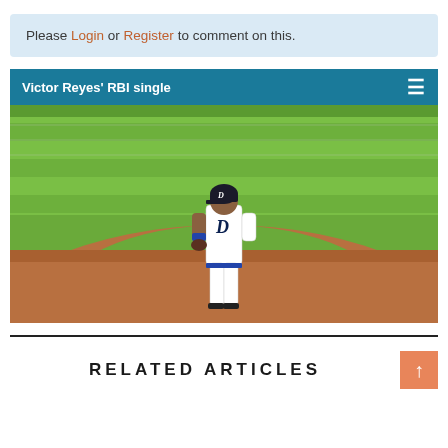Please Login or Register to comment on this.
[Figure (screenshot): Video player showing Victor Reyes in Detroit Tigers uniform standing on a baseball field. Header bar reads 'Victor Reyes' RBI single' with a hamburger menu icon. The field shows green grass outfield and infield dirt.]
RELATED ARTICLES